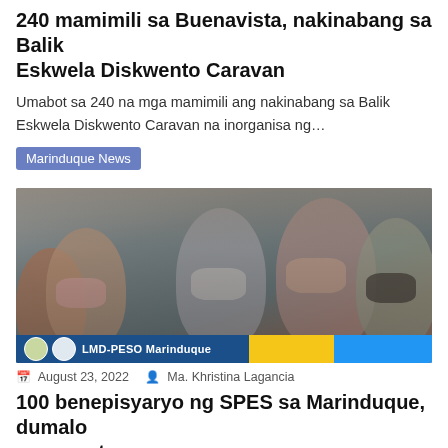240 mamimili sa Buenavista, nakinabang sa Balik Eskwela Diskwento Caravan
Umabot sa 240 na mga mamimili ang nakinabang sa Balik Eskwela Diskwento Caravan na inorganisa ng…
Marinduque News
[Figure (photo): Group of young people wearing face masks seated in rows, attending an event. Banner at bottom reads 'LMD-PESO Marinduque' with government logos.]
August 23, 2022   Ma. Khristina Lagancia
100 benepisyaryo ng SPES sa Marinduque, dumalo sa oryentasyon
Dinaluban nang pasa 100 mag-aaral ang oryentasyon hinggil